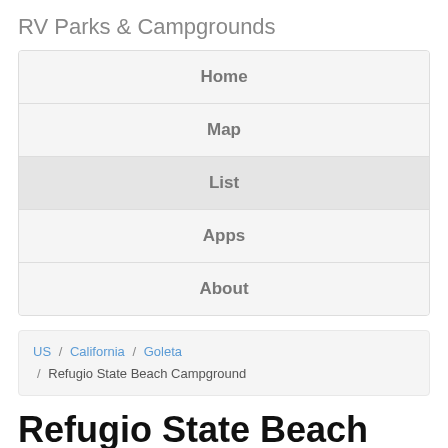RV Parks & Campgrounds
Home
Map
List
Apps
About
US / California / Goleta / Refugio State Beach Campground
Refugio State Beach